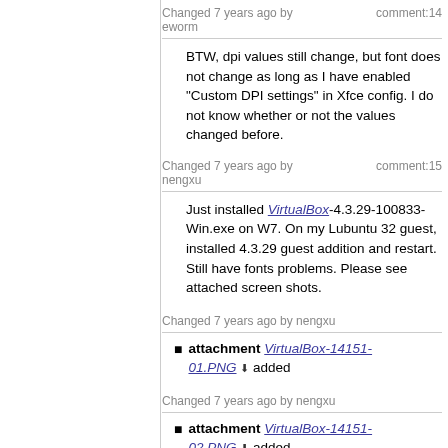Changed 7 years ago by eworm  comment:14
BTW, dpi values still change, but font does not change as long as I have enabled "Custom DPI settings" in Xfce config. I do not know whether or not the values changed before.
Changed 7 years ago by nengxu  comment:15
Just installed VirtualBox-4.3.29-100833-Win.exe on W7. On my Lubuntu 32 guest, installed 4.3.29 guest addition and restart. Still have fonts problems. Please see attached screen shots.
Changed 7 years ago by nengxu
attachment VirtualBox-14151-01.PNG ⬇ added
Changed 7 years ago by nengxu
attachment VirtualBox-14151-02.PNG ⬇ added